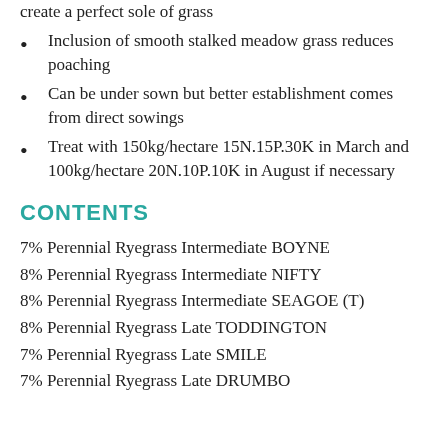create a perfect sole of grass
Inclusion of smooth stalked meadow grass reduces poaching
Can be under sown but better establishment comes from direct sowings
Treat with 150kg/hectare 15N.15P.30K in March and 100kg/hectare 20N.10P.10K in August if necessary
CONTENTS
7% Perennial Ryegrass Intermediate BOYNE
8% Perennial Ryegrass Intermediate NIFTY
8% Perennial Ryegrass Intermediate SEAGOE (T)
8% Perennial Ryegrass Late TODDINGTON
7% Perennial Ryegrass Late SMILE
7% Perennial Ryegrass Late DRUMBO